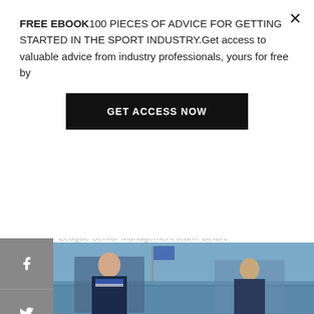FREE EBOOK100 PIECES OF ADVICE FOR GETTING STARTED IN THE SPORT INDUSTRY.Get access to valuable advice from industry professionals, yours for free by
GET ACCESS NOW
League Senior Management team. Before Seven League I spent 5 years with Twitter. I was Twitter UK's first head of sport, led sports partnerships for Twitter globally and then became Senior Director of Media Partnerships for the UK, MENA, Africa and other global markets. Prior to Twitter I was with BBC Sport for 11 years – as editor of the BBC Sport website, BBC Sport's social media editor, and other roles.
[Figure (photo): Photo strip showing two people, partially visible at bottom of page]